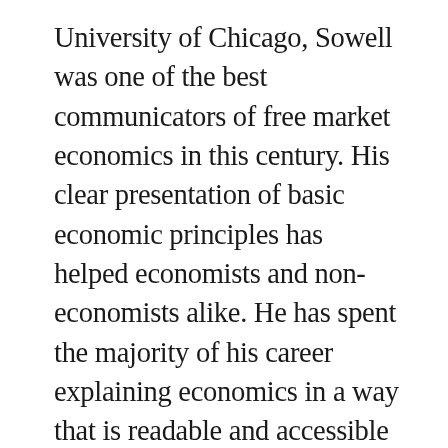University of Chicago, Sowell was one of the best communicators of free market economics in this century. His clear presentation of basic economic principles has helped economists and non-economists alike. He has spent the majority of his career explaining economics in a way that is readable and accessible to all. He doesn't collapse into jargon to explain complex ideas, even though it takes less effort. He uses everyday language to teach economics to the everyman. The work he is most known for is Basic Economics. A thick, but accessible book, it teaches fundamental economic principles...